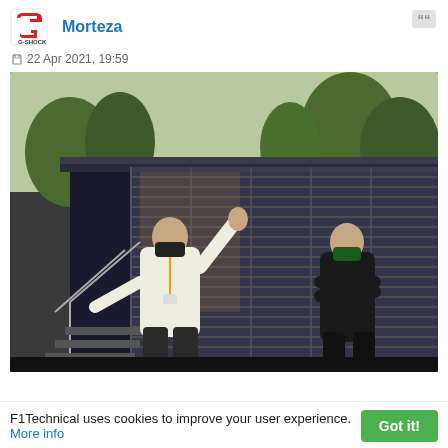Morteza
22 Apr 2021, 19:59
[Figure (photo): Two men wearing face masks standing outside a modern black building with large glass panels at an F1 paddock. One man in white jacket waves his arm, another in black jacket stands in background. Trees visible behind the structure.]
F1Technical uses cookies to improve your user experience.
More info